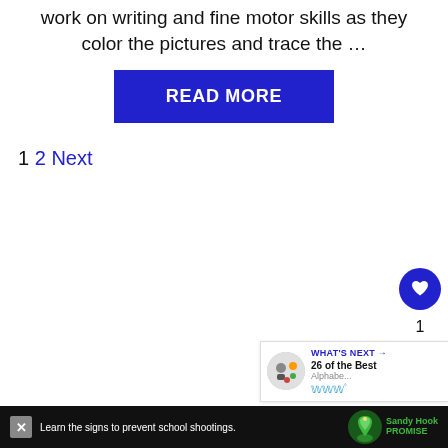work on writing and fine motor skills as they color the pictures and trace the …
READ MORE
1 2 Next
[Figure (infographic): Floating heart like button (blue circle) with heart icon, count of 1, and share icon button below]
[Figure (infographic): What's Next panel showing '26 of the Best Alphab...' with circular food/animal image and W logo]
[Figure (infographic): Ad bar at bottom: 'Learn the signs to prevent school shootings.' with Sandy Hook Promise tree logo]